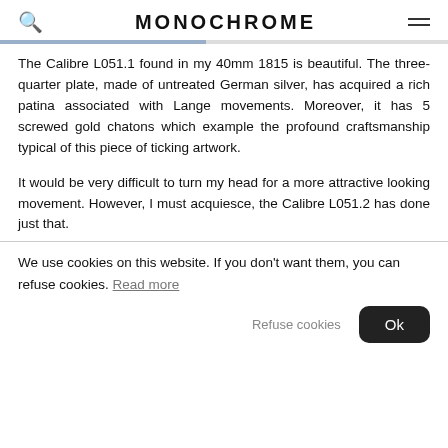MONOCHROME
The Calibre L051.1 found in my 40mm 1815 is beautiful. The three-quarter plate, made of untreated German silver, has acquired a rich patina associated with Lange movements. Moreover, it has 5 screwed gold chatons which example the profound craftsmanship typical of this piece of ticking artwork.
It would be very difficult to turn my head for a more attractive looking movement. However, I must acquiesce, the Calibre L051.2 has done just that.
We use cookies on this website. If you don't want them, you can refuse cookies. Read more